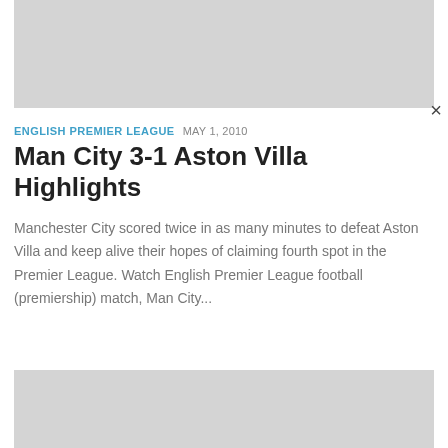[Figure (other): Gray advertisement banner placeholder at top]
×
ENGLISH PREMIER LEAGUE  MAY 1, 2010
Man City 3-1 Aston Villa Highlights
Manchester City scored twice in as many minutes to defeat Aston Villa and keep alive their hopes of claiming fourth spot in the Premier League. Watch English Premier League football (premiership) match, Man City...
[Figure (other): Gray advertisement banner placeholder at bottom]